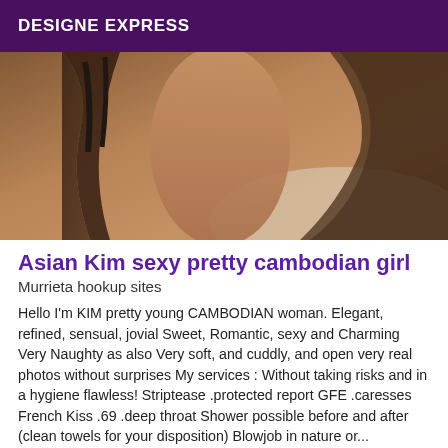DESIGNE EXPRESS
[Figure (photo): A photo showing a person from behind wearing dark clothing, lying on a bed with light-colored sheets, photographed in low/warm lighting.]
Asian Kim sexy pretty cambodian girl
Murrieta hookup sites
Hello I'm KIM pretty young CAMBODIAN woman. Elegant, refined, sensual, jovial Sweet, Romantic, sexy and Charming Very Naughty as also Very soft, and cuddly, and open very real photos without surprises My services : Without taking risks and in a hygiene flawless! Striptease .protected report GFE .caresses French Kiss .69 .deep throat Shower possible before and after (clean towels for your disposition) Blowjob in nature or...